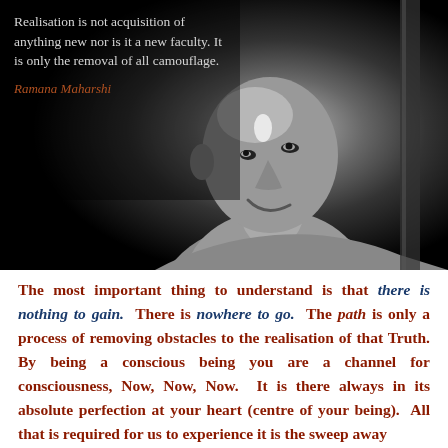[Figure (photo): Black and white photograph of Ramana Maharshi, a bald elderly Indian sage, smiling and looking upward, shirtless, against a dark background. Text overlay in the upper left contains a quote.]
Realisation is not acquisition of anything new nor is it a new faculty. It is only the removal of all camouflage.

Ramana Maharshi
The most important thing to understand is that there is nothing to gain. There is nowhere to go. The path is only a process of removing obstacles to the realisation of that Truth. By being a conscious being you are a channel for consciousness, Now, Now, Now. It is there always in its absolute perfection at your heart (centre of your being). All that is required for us to experience it is the sweep away